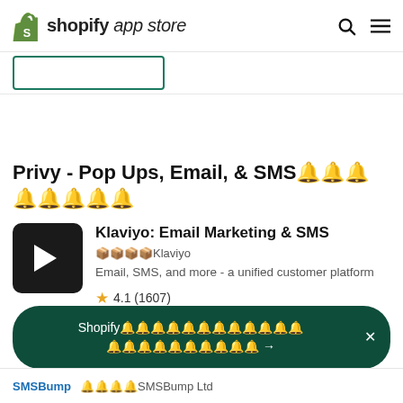shopify app store
[Figure (other): Green outlined rectangle button element]
Privy - Pop Ups, Email, & SMS🔔🔔🔔🔔🔔🔔🔔🔔
[Figure (logo): Klaviyo app icon - black square with white flag/pennant shape]
Klaviyo: Email Marketing & SMS
🔔🔔🔔🔔Klaviyo
Email, SMS, and more - a unified customer platform
★ 4.1 (1607)
Shopify🔔🔔🔔🔔🔔🔔🔔🔔🔔🔔🔔🔔 🔔🔔🔔🔔🔔🔔🔔🔔🔔🔔 →
SMSBump  🔔🔔🔔🔔SMSBump Ltd